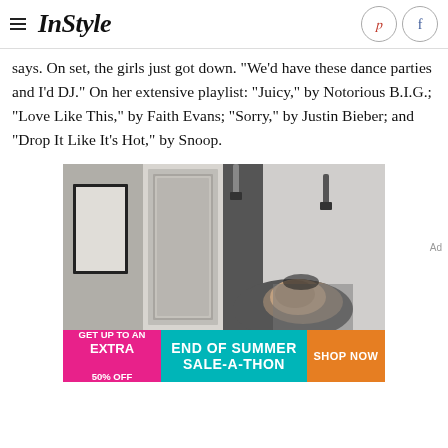InStyle
says. On set, the girls just got down. "We'd have these dance parties and I'd DJ." On her extensive playlist: "Juicy," by Notorious B.I.G.; "Love Like This," by Faith Evans; "Sorry," by Justin Bieber; and "Drop It Like It's Hot," by Snoop.
[Figure (photo): Black and white photo of a woman with dark hair in what appears to be a marble bathroom setting]
[Figure (infographic): Advertisement banner: GET UP TO AN EXTRA 50% OFF | END OF SUMMER SALE-A-THON | SHOP NOW]